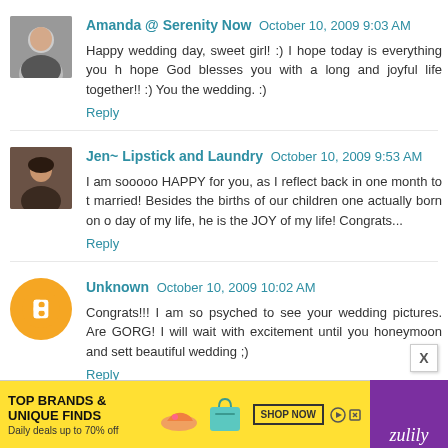[Figure (photo): Avatar photo of Amanda, a woman smiling]
Amanda @ Serenity Now  October 10, 2009 9:03 AM
Happy wedding day, sweet girl! :) I hope today is everything you h... hope God blesses you with a long and joyful life together!! :) You... the wedding. :)
Reply
[Figure (photo): Avatar photo of Jen, a woman with dark hair]
Jen~ Lipstick and Laundry  October 10, 2009 9:53 AM
I am sooooo HAPPY for you, as I reflect back in one month to t... married! Besides the births of our children one actually born on o... day of my life, he is the JOY of my life! Congrats...
Reply
[Figure (logo): Orange circle with white Blogger B icon — Unknown user avatar]
Unknown  October 10, 2009 10:02 AM
Congrats!!! I am so psyched to see your wedding pictures. Are... GORG! I will wait with excitement until you honeymoon and set... beautiful wedding ;)
Reply
[Figure (infographic): Zulily advertisement banner: TOP BRANDS & UNIQUE FINDS, Daily deals up to 70% off, SHOP NOW]